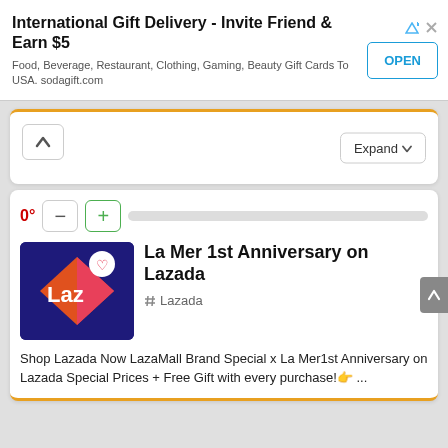[Figure (screenshot): Advertisement banner: International Gift Delivery - Invite Friend & Earn $5, with OPEN button]
International Gift Delivery - Invite Friend & Earn $5
Food, Beverage, Restaurant, Clothing, Gaming, Beauty Gift Cards To USA. sodagift.com
[Figure (screenshot): Collapsed card with up-arrow button and Expand button]
0°
[Figure (logo): Lazada app icon - blue background with orange/pink Laz logo and heart icon]
La Mer 1st Anniversary on Lazada
# Lazada
Shop Lazada Now LazaMall Brand Special x La Mer1st Anniversary on Lazada Special Prices + Free Gift with every purchase!👉 ...